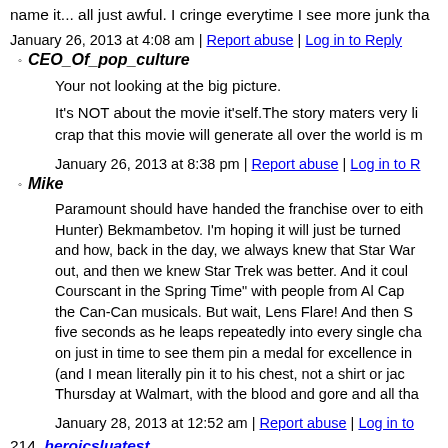name it... all just awful. I cringe everytime I see more junk tha
January 26, 2013 at 4:08 am | Report abuse | Log in to Reply
CEO_Of_pop_culture
Your not looking at the big picture.
It's NOT about the movie it'self.The story maters very li... crap that this movie will generate all over the world is m...
January 26, 2013 at 8:38 pm | Report abuse | Log in to R...
Mike
Paramount should have handed the franchise over to eith... Hunter) Bekmambetov. I'm hoping it will just be turned... and how, back in the day, we always knew that Star War... out, and then we knew Star Trek was better. And it coul... Courscant in the Spring Time" with people from Al Cape... the Can-Can musicals. But wait, Lens Flare! And then S... five seconds as he leaps repeatedly into every single cha... on just in time to see them pin a medal for excellence in... (and I mean literally pin it to his chest, not a shirt or jack... Thursday at Walmart, with the blood and gore and all tha...
January 28, 2013 at 12:52 am | Report abuse | Log in to
214. heroicsluatest